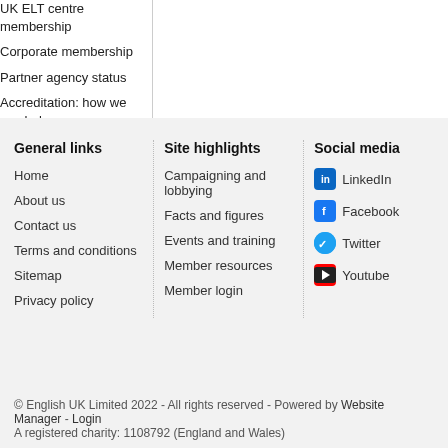UK ELT centre membership
Corporate membership
Partner agency status
Accreditation: how we can help
General links
Home
About us
Contact us
Terms and conditions
Sitemap
Privacy policy
Site highlights
Campaigning and lobbying
Facts and figures
Events and training
Member resources
Member login
Social media
LinkedIn
Facebook
Twitter
Youtube
© English UK Limited 2022 - All rights reserved - Powered by Website Manager - Login
A registered charity: 1108792 (England and Wales)